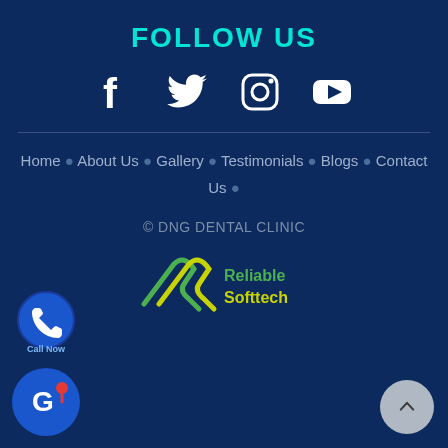FOLLOW US
[Figure (illustration): Social media icons: Facebook, Twitter, Instagram, YouTube in white on dark blue background]
Home • About Us • Gallery • Testimonials • Blogs • Contact Us •
© DNG DENTAL CLINIC
[Figure (logo): Reliable Softtech logo with green and yellow RS icon and text]
[Figure (illustration): Call Now button (blue circular phone icon with Call Now text) at bottom left]
[Figure (illustration): Google Maps button at bottom left]
[Figure (illustration): Scroll to top button (grey circle with upward chevron) at bottom right]